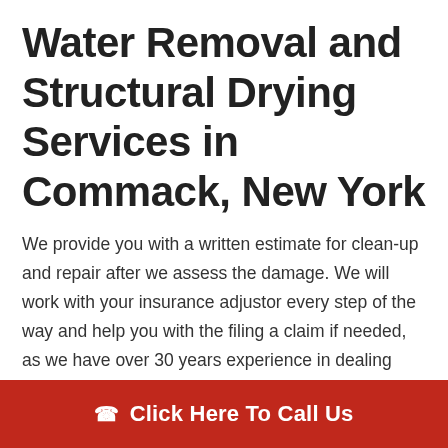Water Removal and Structural Drying Services in Commack, New York
We provide you with a written estimate for clean-up and repair after we assess the damage. We will work with your insurance adjustor every step of the way and help you with the filing a claim if needed, as we have over 30 years experience in dealing with both insurance agencies and insurance adjustors. If you prefer, we can also offer you direct billing. Our customers are important to us and we don't consider any job complete until our customer is 100% satisfied. When you call us about your water damage, you can rest assured that you
Click Here To Call Us